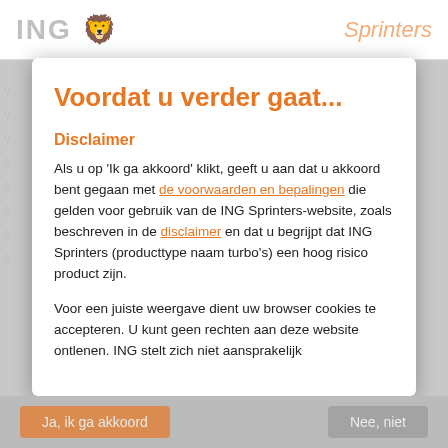ING  Sprinters
Voordat u verder gaat...
Disclaimer
Als u op 'Ik ga akkoord' klikt, geeft u aan dat u akkoord bent gegaan met de voorwaarden en bepalingen die gelden voor gebruik van de ING Sprinters-website, zoals beschreven in de disclaimer en dat u begrijpt dat ING Sprinters (producttype naam turbo's) een hoog risico product zijn.
Voor een juiste weergave dient uw browser cookies te accepteren. U kunt geen rechten aan deze website ontlenen. ING stelt zich niet aansprakelijk